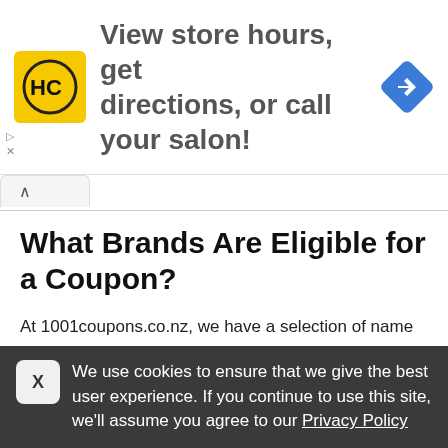[Figure (infographic): Advertisement banner with Hair Club logo (HC in yellow square), text 'View store hours, get directions, or call your salon!', and a blue navigation diamond icon on the right.]
What Brands Are Eligible for a Coupon?
At 1001coupons.co.nz, we have a selection of name brands we've collaborated with to give you exclusive discount offers and couponcode. For example, you can find a discount for Adriane galisteu on our homepage under "Our Partners." These obviously change over time, so if your
We use cookies to ensure that we give the best user experience. If you continue to use this site, we'll assume you agree to our Privacy Policy